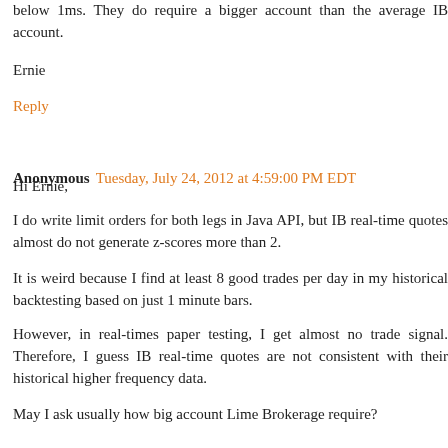below 1ms. They do require a bigger account than the average IB account.
Ernie
Reply
Anonymous  Tuesday, July 24, 2012 at 4:59:00 PM EDT
Hi Ernie,
I do write limit orders for both legs in Java API, but IB real-time quotes almost do not generate z-scores more than 2.
It is weird because I find at least 8 good trades per day in my historical backtesting based on just 1 minute bars.
However, in real-times paper testing, I get almost no trade signal. Therefore, I guess IB real-time quotes are not consistent with their historical higher frequency data.
May I ask usually how big account Lime Brokerage require?